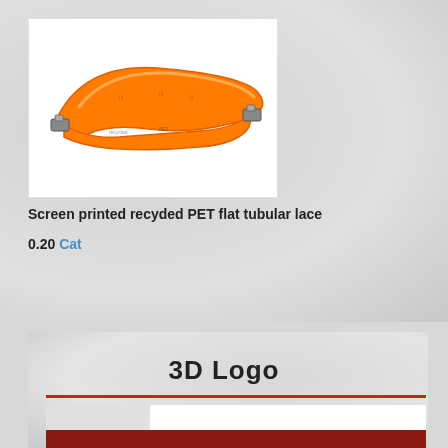[Figure (photo): Orange screen-printed recycled PET flat tubular lace/lanyard with metal clips at both ends, displayed on white background]
Screen printed recyded PET flat tubular lace
0.20 Cat
3D Logo